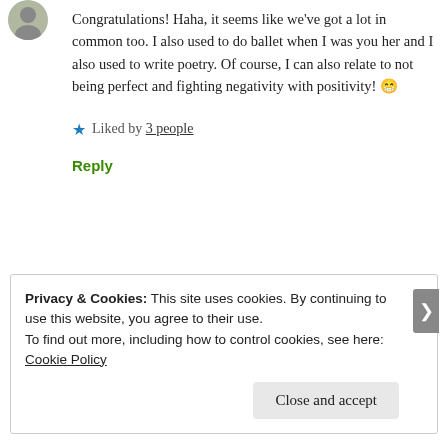[Figure (photo): User avatar photo - partial circular profile image at top left]
Congratulations! Haha, it seems like we've got a lot in common too. I also used to do ballet when I was younger and I also used to write poetry. Of course, I can also relate to not being perfect and fighting negativity with positivity! 😁
★ Liked by 3 people
Reply
Privacy & Cookies: This site uses cookies. By continuing to use this website, you agree to their use.
To find out more, including how to control cookies, see here: Cookie Policy
Close and accept